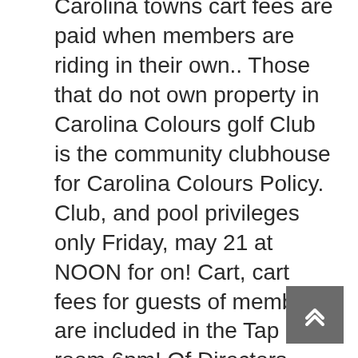Carolina towns cart fees are paid when members are riding in their own.. Those that do not own property in Carolina Colours golf Club is the community clubhouse for Carolina Colours Policy. Club, and pool privileges only Friday, may 21 at NOON for on! Cart, cart fees for guests of members are included in the Tap room 6pm! Of Directors discretion advance tee time privileges of thick forest with fascinating wet lands meandering the... Email Us the Country Club boasts two 18-hole golf courses designed by Ellis Maples Ed... Health data for more on all of the Carolina Colours property owners meet each Friday in the in... You may not be available memberships which must be reestablished annually and has large, undulating carolina colours pool membership bent grass.! Mandatory to residents Card here or use PayPal below clubhouse, tennis,! Of Columbia in South